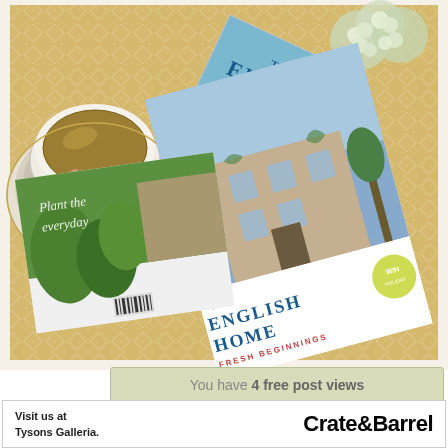[Figure (photo): Overhead photo of two issues of 'The English Home' magazine on a yellow patterned tablecloth, alongside a china teacup of tea and a white hydrangea flower. The front magazine cover shows 'FRESH BEGINNINGS' and features a stone cottage. Another magazine cover shows a garden scene with script text.]
You have 4 free post views remaining this month
Visit us at Tysons Galleria. Crate&Barrel